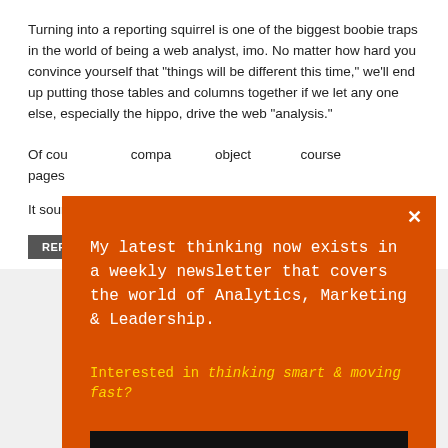Turning into a reporting squirrel is one of the biggest boobie traps in the world of being a web analyst, imo. No matter how hard you convince yourself that "things will be different this time," we'll end up putting those tables and columns together if we let any one else, especially the hippo, drive the web "analysis."
Of cou[...] compa[...] object[...] course[...] pages[...]
It sour[...] fightin[...] their h[...]
REPL[...]
[Figure (infographic): Orange modal popup overlay with white close button (x) in top right. Contains text: 'My latest thinking now exists in a weekly newsletter that covers the world of Analytics, Marketing & Leadership.' followed by 'Interested in thinking smart & moving fast?' and a black button 'Join The Movement' in gold text.]